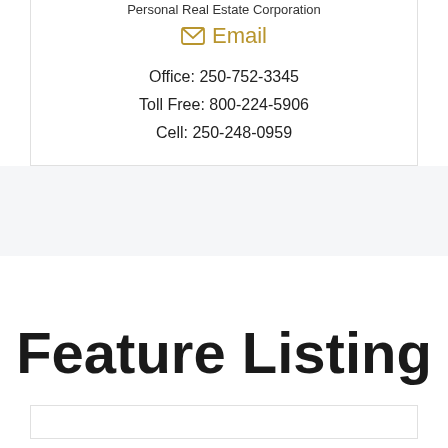Personal Real Estate Corporation
Email
Office: 250-752-3345
Toll Free: 800-224-5906
Cell: 250-248-0959
Feature Listing